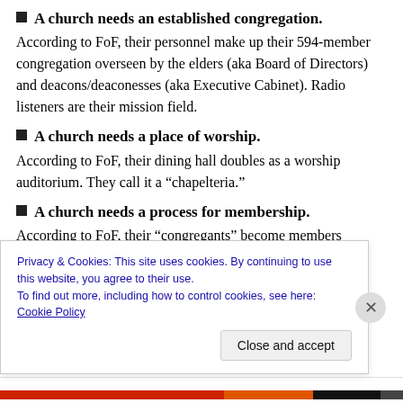A church needs an established congregation. According to FoF, their personnel make up their 594-member congregation overseen by the elders (aka Board of Directors) and deacons/deaconesses (aka Executive Cabinet). Radio listeners are their mission field.
A church needs a place of worship. According to FoF, their dining hall doubles as a worship auditorium. They call it a “chapelteria.”
A church needs a process for membership. According to FoF, their “congregants” become members
Privacy & Cookies: This site uses cookies. By continuing to use this website, you agree to their use.
To find out more, including how to control cookies, see here: Cookie Policy
Close and accept